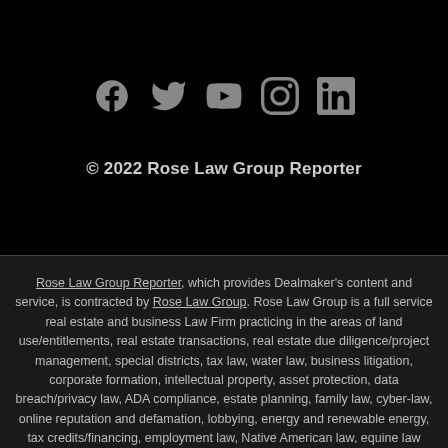[Figure (other): Row of 5 social media icons: Facebook, Twitter, YouTube, Instagram, LinkedIn]
© 2022 Rose Law Group Reporter
Rose Law Group Reporter, which provides Dealmaker's content and service, is contracted by Rose Law Group. Rose Law Group is a full service real estate and business Law Firm practicing in the areas of land use/entitlements, real estate transactions, real estate due diligence/project management, special districts, tax law, water law, business litigation, corporate formation, intellectual property, asset protection, data breach/privacy law, ADA compliance, estate planning, family law, cyber-law, online reputation and defamation, lobbying, energy and renewable energy, tax credits/financing, employment law, Native American law, equine law